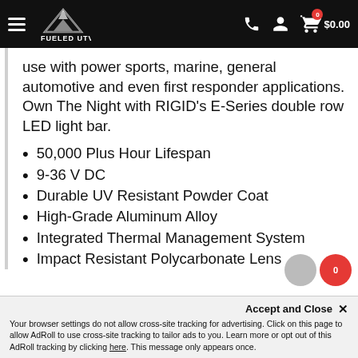Fueled UTV — navigation header with hamburger menu, logo, phone, user, and cart ($0.00)
use with power sports, marine, general automotive and even first responder applications. Own The Night with RIGID's E-Series double row LED light bar.
50,000 Plus Hour Lifespan
9-36 V DC
Durable UV Resistant Powder Coat
High-Grade Aluminum Alloy
Integrated Thermal Management System
Impact Resistant Polycarbonate Lens
Accept and Close ✕
Your browser settings do not allow cross-site tracking for advertising. Click on this page to allow AdRoll to use cross-site tracking to tailor ads to you. Learn more or opt out of this AdRoll tracking by clicking here. This message only appears once.